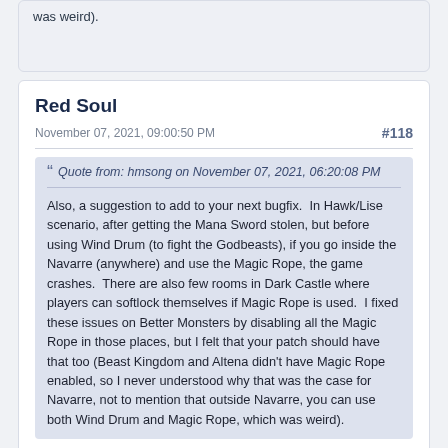was weird).
Red Soul
November 07, 2021, 09:00:50 PM
#118
Quote from: hmsong on November 07, 2021, 06:20:08 PM
Also, a suggestion to add to your next bugfix.  In Hawk/Lise scenario, after getting the Mana Sword stolen, but before using Wind Drum (to fight the Godbeasts), if you go inside the Navarre (anywhere) and use the Magic Rope, the game crashes.  There are also few rooms in Dark Castle where players can softlock themselves if Magic Rope is used.  I fixed these issues on Better Monsters by disabling all the Magic Rope in those places, but I felt that your patch should have that too (Beast Kingdom and Altena didn't have Magic Rope enabled, so I never understood why that was the case for Navarre, not to mention that outside Navarre, you can use both Wind Drum and Magic Rope, which was weird).